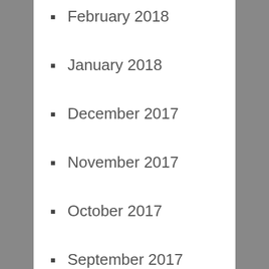February 2018
January 2018
December 2017
November 2017
October 2017
September 2017
August 2017